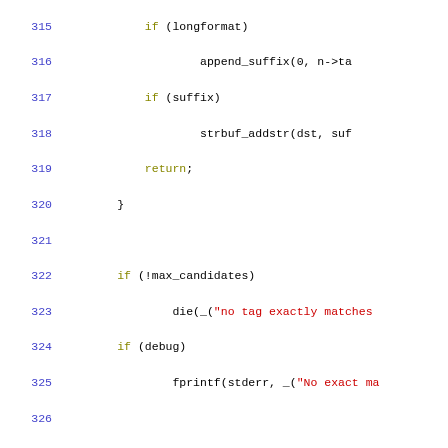[Figure (screenshot): Source code listing in C showing lines 315-344 of a git describe utility function. Lines are numbered in blue on the left. Code uses syntax highlighting with keywords in olive/yellow-green, struct keyword in red/orange, string literals in red, and regular code in black.]